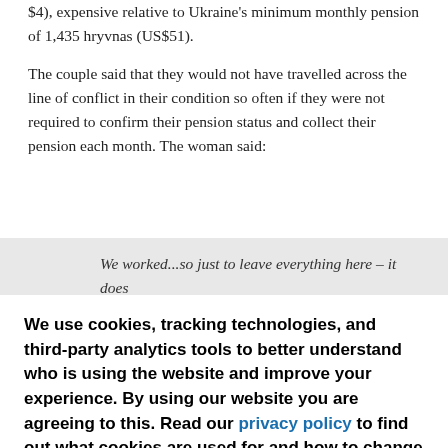$4), expensive relative to Ukraine's minimum monthly pension of 1,435 hryvnas (US$51).
The couple said that they would not have travelled across the line of conflict in their condition so often if they were not required to confirm their pension status and collect their pension each month. The woman said:
We worked...so just to leave everything here – it does
We use cookies, tracking technologies, and third-party analytics tools to better understand who is using the website and improve your experience. By using our website you are agreeing to this. Read our privacy policy to find out what cookies are used for and how to change your settings.
Accept
Other options